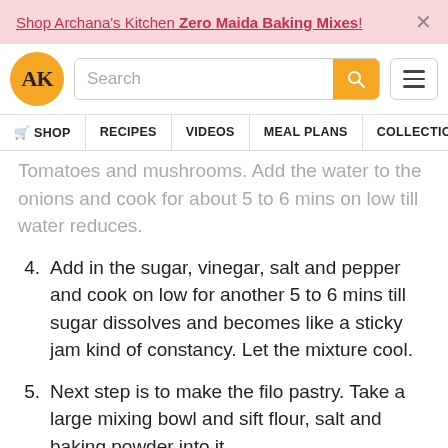Shop Archana's Kitchen Zero Maida Baking Mixes!
[Figure (screenshot): Archana's Kitchen website navigation bar with AK logo, search bar, and hamburger menu]
Tomatoes and mushrooms. Add the water to the onions and cook for about 5 to 6 mins on low till water reduces.
4. Add in the sugar, vinegar, salt and pepper and cook on low for another 5 to 6 mins till sugar dissolves and becomes like a sticky jam kind of constancy. Let the mixture cool.
5. Next step is to make the filo pastry. Take a large mixing bowl and sift flour, salt and baking powder into it.